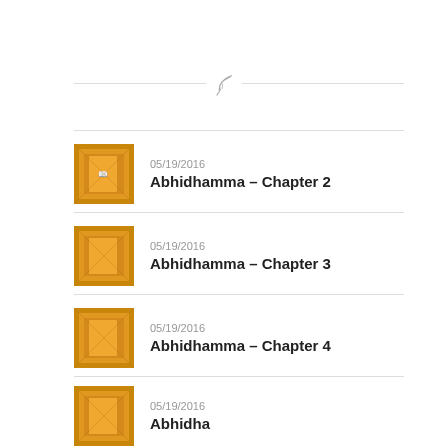[Figure (illustration): Decorative feather/quill icon centered on a horizontal divider line]
05/19/2016 — Abhidhamma – Chapter 2
05/19/2016 — Abhidhamma – Chapter 3
05/19/2016 — Abhidhamma – Chapter 4
05/19/2016 — Abhidhamma – Chapter 1
05/19/2016 — Abhidhamma – Chapter (partial)